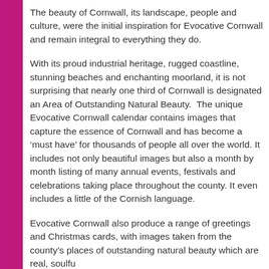The beauty of Cornwall, its landscape, people and culture, were the initial inspiration for Evocative Cornwall and remain integral to everything they do.
With its proud industrial heritage, rugged coastline, stunning beaches and enchanting moorland, it is not surprising that nearly one third of Cornwall is designated an Area of Outstanding Natural Beauty.  The unique Evocative Cornwall calendar contains images that capture the essence of Cornwall and has become a ‘must have’ for thousands of people all over the world. It includes not only beautiful images but also a month by month listing of many annual events, festivals and celebrations taking place throughout the county. It even includes a little of the Cornish language.
Evocative Cornwall also produce a range of greetings and Christmas cards, with images taken from the county’s places of outstanding natural beauty which are real, soulfu...